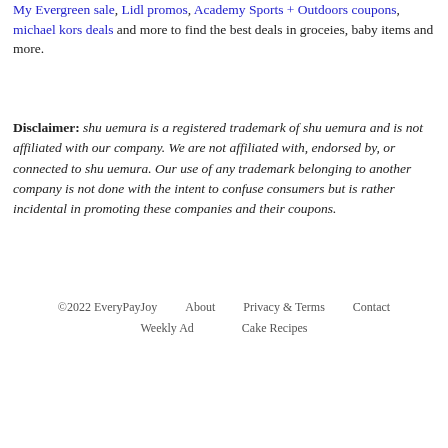You can also check YourL21 coupons, Maram Brothers deals, My Evergreen sale, Lidl promos, Academy Sports + Outdoors coupons, michael kors deals and more to find the best deals in groceies, baby items and more.
Disclaimer: shu uemura is a registered trademark of shu uemura and is not affiliated with our company. We are not affiliated with, endorsed by, or connected to shu uemura. Our use of any trademark belonging to another company is not done with the intent to confuse consumers but is rather incidental in promoting these companies and their coupons.
©2022 EveryPayJoy   About   Privacy & Terms   Contact   Weekly Ad   Cake Recipes